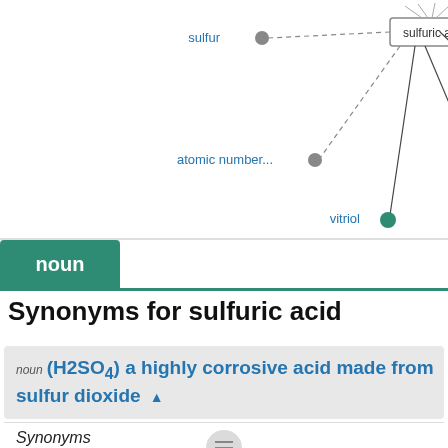[Figure (network-graph): Word relationship network diagram for 'sulfuric acid' showing connected nodes: sulfuric a... (center, boxed), sulfur (gray dot, dashed line), atomic number... (gray dot, dashed line), vitriol (teal dot, solid line), sulphuric acid (teal dot, solid line), oil of vitriol (teal dot, solid line). Lines radiate from center node.]
noun
Synonyms for sulfuric acid
noun (H2SO4) a highly corrosive acid made from sulfur dioxide ▲
Synonyms